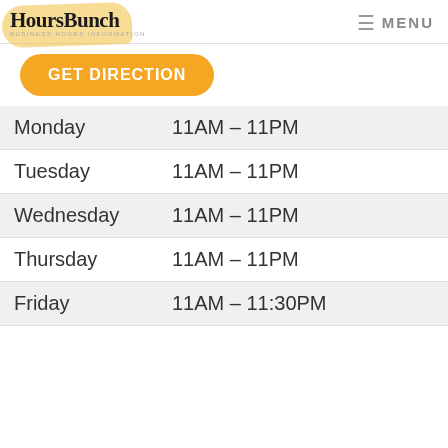HoursBunch — MENU
GET DIRECTION
| Day | Hours |
| --- | --- |
| Monday | 11AM – 11PM |
| Tuesday | 11AM – 11PM |
| Wednesday | 11AM – 11PM |
| Thursday | 11AM – 11PM |
| Friday | 11AM – 11:30PM |